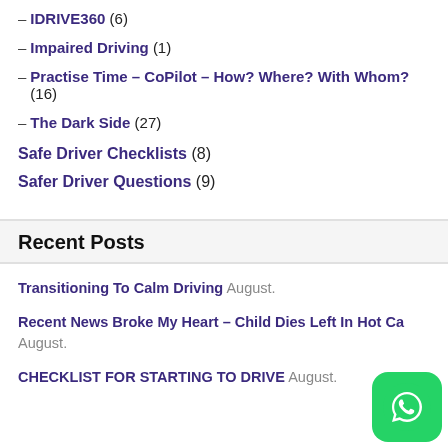– IDRIVE360 (6)
– Impaired Driving (1)
– Practise Time – CoPilot – How? Where? With Whom? (16)
– The Dark Side (27)
Safe Driver Checklists (8)
Safer Driver Questions (9)
Recent Posts
Transitioning To Calm Driving August.
Recent News Broke My Heart – Child Dies Left In Hot Ca… August.
CHECKLIST FOR STARTING TO DRIVE August.